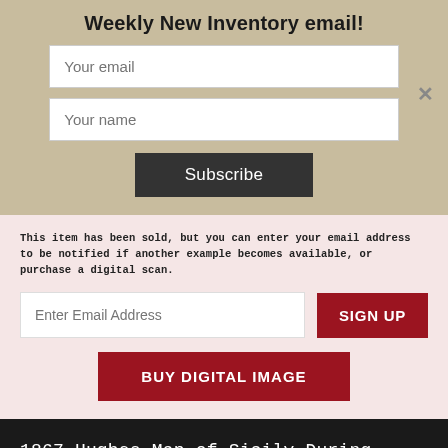Weekly New Inventory email!
Your email
Your name
Subscribe
This item has been sold, but you can enter your email address to be notified if another example becomes available, or purchase a digital scan.
Enter Email Address
SIGN UP
BUY DIGITAL IMAGE
1867 Hughes Map of Sicily During Ancient Roman Times
HOME   SHOP   CART   LINKS